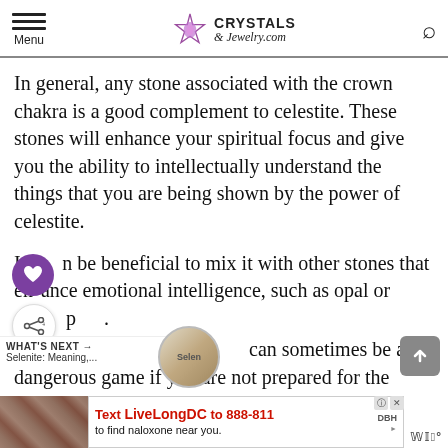Menu | CRYSTALS & Jewelry.com
In general, any stone associated with the crown chakra is a good complement to celestite. These stones will enhance your spiritual focus and give you the ability to intellectually understand the things that you are being shown by the power of celestite.
It can be beneficial to mix it with other stones that enhance emotional intelligence, such as opal or p.
can sometimes be a dangerous game if you are not prepared for the strength of the em
[Figure (screenshot): Advertisement banner: Text LiveLongDC to 888-811 to find naloxone near you.]